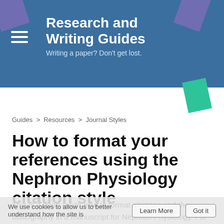Research and Writing Guides
Writing a paper? Don't get lost.
Guides > Resources > Journal Styles
How to format your references using the Nephron Physiology citation style
This is a short guide how to format citations and the bibliography in a manuscript for Nephron Physiology. For a complete guide how to prepare your manuscript refer to the journal's instructions to authors.